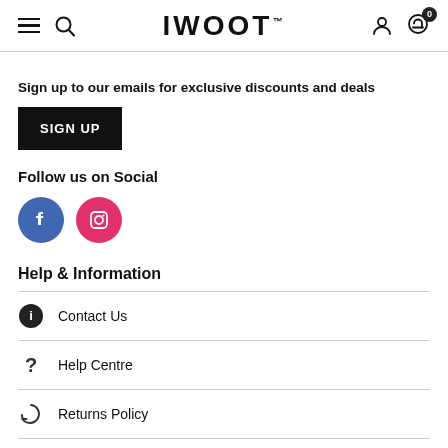IWOOT
Sign up to our emails for exclusive discounts and deals
SIGN UP
Follow us on Social
[Figure (logo): Facebook and Instagram social media icons]
Help & Information
Contact Us
Help Centre
Returns Policy